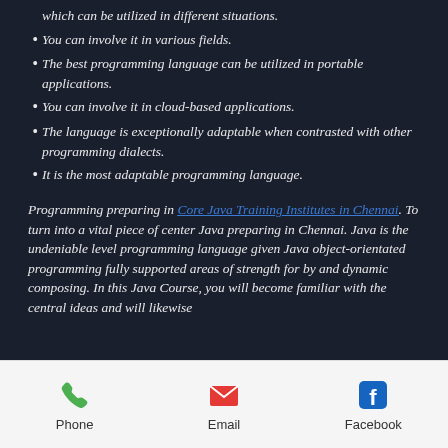which can be utilized in different situations.
You can involve it in various fields.
The best programming language can be utilized in portable applications.
You can involve it in cloud-based applications.
The language is exceptionally adaptable when contrasted with other programming dialects.
It is the most adaptable programming language.
Programming preparing in Core Java Training Institutes in Chennai. To turn into a vital piece of center Java preparing in Chennai. Java is the undeniable level programming language given Java object-orientated programming fully supported areas of strength for by and dynamic composing. In this Java Course, you will become familiar with the central ideas and will likewise...
Phone | Email | Facebook